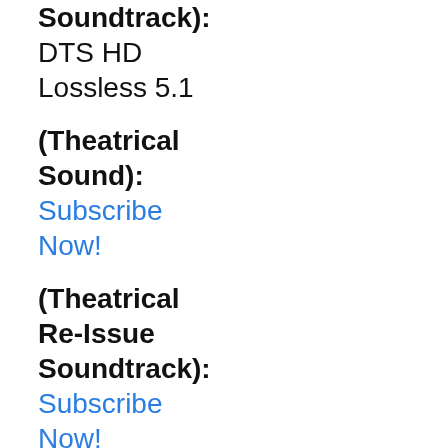Soundtrack): DTS HD Lossless 5.1
(Theatrical Sound): Subscribe Now!
(Theatrical Re-Issue Soundtrack): Subscribe Now!
(DTS Bit Rate): Subscribe Now!
(Dolby Digital